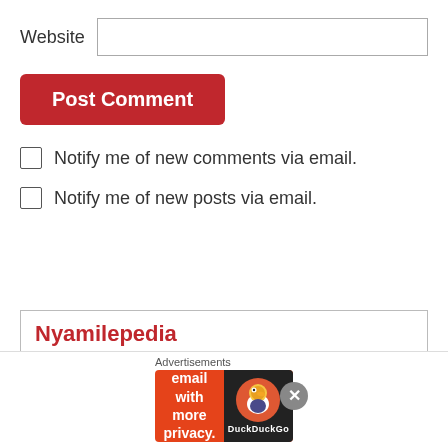Website
Notify me of new comments via email.
Notify me of new posts via email.
Nyamilepedia
Opinion: Jonglei State 'Security Forces" Are Helping Dinka-Bor To Destabilize The State Government
Advertisements
[Figure (screenshot): DuckDuckGo ad banner: Search, browse, and email with more privacy. All in One Free App. DuckDuckGo logo.]